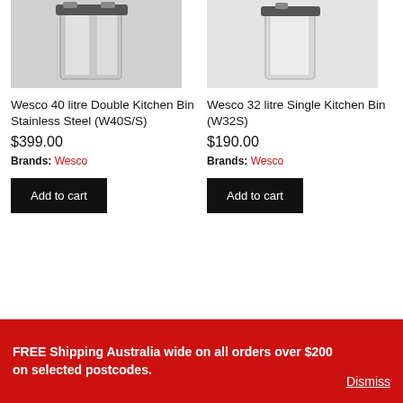[Figure (photo): Product photo of Wesco 40 litre Double Kitchen Bin Stainless Steel, partially cropped at top]
Wesco 40 litre Double Kitchen Bin Stainless Steel (W40S/S)
$399.00
Brands: Wesco
Add to cart
[Figure (photo): Product photo of Wesco 32 litre Single Kitchen Bin, partially cropped/blank area]
Wesco 32 litre Single Kitchen Bin (W32S)
$190.00
Brands: Wesco
Add to cart
[Figure (photo): Partial product photo visible at bottom left]
[Figure (photo): Partial product photo with red element visible at bottom right]
FREE Shipping Australia wide on all orders over $200 on selected postcodes. Dismiss